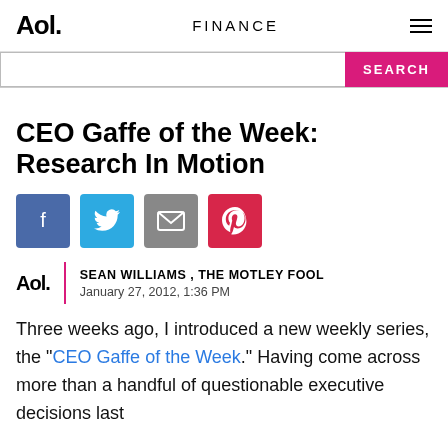Aol. | FINANCE
CEO Gaffe of the Week: Research In Motion
[Figure (other): Social sharing icons: Facebook, Twitter, Email, Pinterest]
SEAN WILLIAMS , THE MOTLEY FOOL
January 27, 2012, 1:36 PM
Three weeks ago, I introduced a new weekly series, the "CEO Gaffe of the Week." Having come across more than a handful of questionable executive decisions last